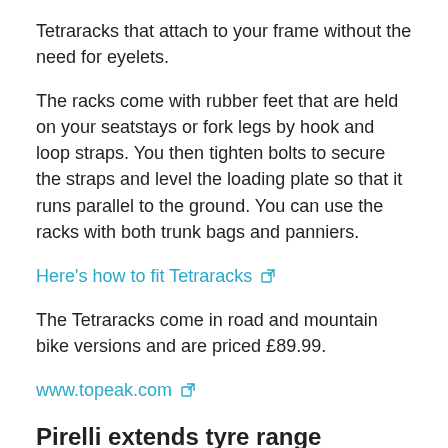Tetraracks that attach to your frame without the need for eyelets.
The racks come with rubber feet that are held on your seatstays or fork legs by hook and loop straps. You then tighten bolts to secure the straps and level the loading plate so that it runs parallel to the ground. You can use the racks with both trunk bags and panniers.
Here's how to fit Tetraracks [external link]
The Tetraracks come in road and mountain bike versions and are priced £89.99.
www.topeak.com [external link]
Pirelli extends tyre range
Pirelli now offers its P Zero Velo clincher tyre in what it